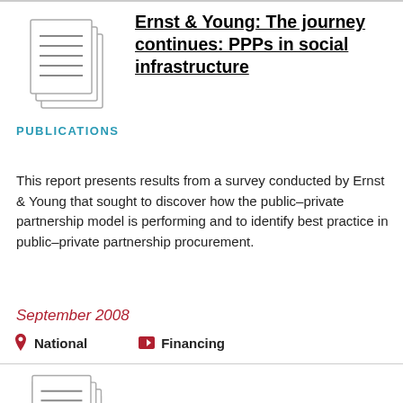[Figure (illustration): Document/publication icon showing stacked pages with lines]
PUBLICATIONS
Ernst & Young: The journey continues: PPPs in social infrastructure
This report presents results from a survey conducted by Ernst & Young that sought to discover how the public–private partnership model is performing and to identify best practice in public–private partnership procurement.
September 2008
National   Financing
[Figure (illustration): Document/publication icon showing stacked pages with lines]
PUBLICATIONS
Ernst & Young: The economic contribution of Sydney's toll roads to NSW and Australia
This report by Ernst & Young, commissioned by Transurban Limited, makes an independent evaluation of the net benefits arising from Sydney's network of nine toll roads.